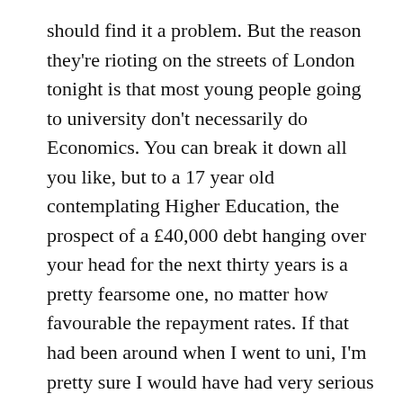should find it a problem. But the reason they're rioting on the streets of London tonight is that most young people going to university don't necessarily do Economics. You can break it down all you like, but to a 17 year old contemplating Higher Education, the prospect of a £40,000 debt hanging over your head for the next thirty years is a pretty fearsome one, no matter how favourable the repayment rates. If that had been around when I went to uni, I'm pretty sure I would have had very serious second thoughts. No matter how much Clegg and Cable bang on about social mobility, the pure fact is that the very prospect of that debt is going to put the less well off seriously off going into Higher Education.